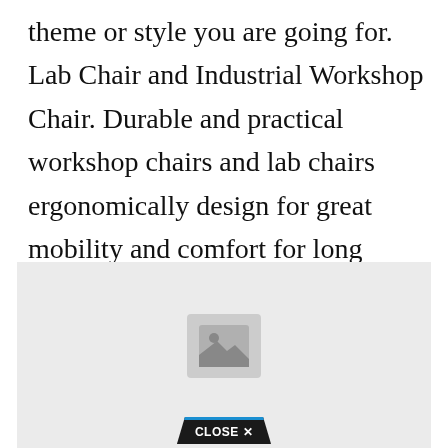theme or style you are going for. Lab Chair and Industrial Workshop Chair. Durable and practical workshop chairs and lab chairs ergonomically design for great mobility and comfort for long hours seat. Our plastic side chairs are durable and sturdy. 3V Metal Chairs Assorted Colours Pre Order.
[Figure (photo): Image placeholder with a landscape/photo icon centered on a light gray background, with a 'CLOSE X' button at the bottom center in dark background with blue top border]